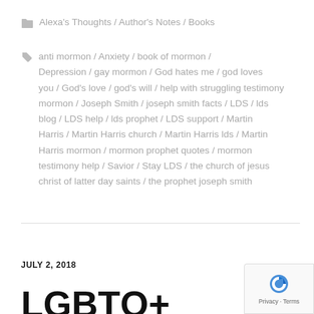Alexa's Thoughts / Author's Notes / Books
anti mormon / Anxiety / book of mormon / Depression / gay mormon / God hates me / god loves you / God's love / god's will / help with struggling testimony mormon / Joseph Smith / joseph smith facts / LDS / lds blog / LDS help / lds prophet / LDS support / Martin Harris / Martin Harris church / Martin Harris lds / Martin Harris mormon / mormon prophet quotes / mormon testimony help / Savior / Stay LDS / the church of jesus christ of latter day saints / the prophet joseph smith
JULY 2, 2018
LGBTQ+